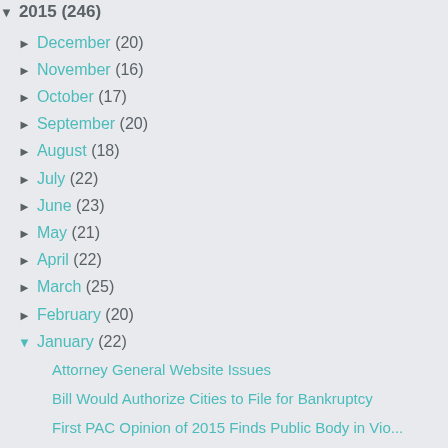▼ 2015 (246)
► December (20)
► November (16)
► October (17)
► September (20)
► August (18)
► July (22)
► June (23)
► May (21)
► April (22)
► March (25)
► February (20)
▼ January (22)
Attorney General Website Issues
Bill Would Authorize Cities to File for Bankruptcy
First PAC Opinion of 2015 Finds Public Body in Vio...
Illinois Supreme Court Grants PLA in School Distri...
Recording of Arrestee While in Police Car Does Not...
Political Signs and Municipal Regulation
PAC Wades into Constitutional Issues Again in 2nd...